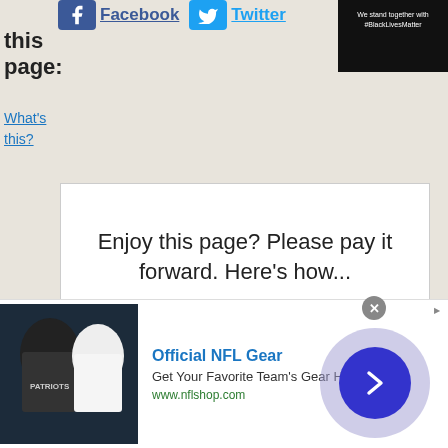[Figure (screenshot): Facebook and Twitter share icons with links]
[Figure (screenshot): Black box with text: We stand together with #BlackLivesMatter]
this page:
What's this?
Enjoy this page? Please pay it forward. Here's how...
INTERESTED IN MORE? IF SO, YOU MAY WANT TO CHECK OUT OUR OTHER SITES:
fossilicious.com - Our online fossil and mineral rock shop.
[Figure (screenshot): Advertisement: Official NFL Gear - Get Your Favorite Team's Gear Here - www.nflshop.com]